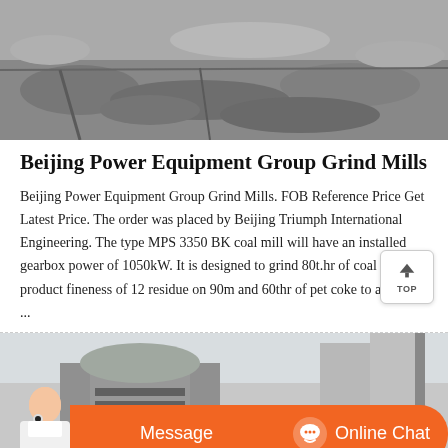[Figure (photo): Black and white photo of mining or quarry site with excavated rocky terrain]
Beijing Power Equipment Group Grind Mills
Beijing Power Equipment Group Grind Mills. FOB Reference Price Get Latest Price. The order was placed by Beijing Triumph International Engineering. The type MPS 3350 BK coal mill will have an installed gearbox power of 1050kW. It is designed to grind 80t.hr of coal to a product fineness of 12 residue on 90m and 60thr of pet coke to a product ...
[Figure (photo): Industrial buildings and structures, grey silos and warehouse at a plant site]
[Figure (photo): Customer service representative with headset - chat bar overlay with Message and Online Chat buttons]